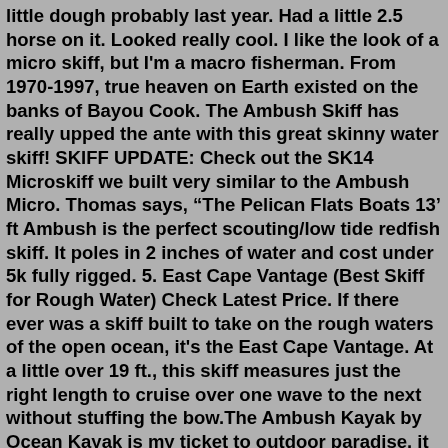little dough probably last year. Had a little 2.5 horse on it. Looked really cool. I like the look of a micro skiff, but I'm a macro fisherman. From 1970-1997, true heaven on Earth existed on the banks of Bayou Cook. The Ambush Skiff has really upped the ante with this great skinny water skiff! SKIFF UPDATE: Check out the SK14 Microskiff we built very similar to the Ambush Micro. Thomas says, “The Pelican Flats Boats 13’ ft Ambush is the perfect scouting/low tide redfish skiff. It poles in 2 inches of water and cost under 5k fully rigged. 5. East Cape Vantage (Best Skiff for Rough Water) Check Latest Price. If there ever was a skiff built to take on the rough waters of the open ocean, it's the East Cape Vantage. At a little over 19 ft., this skiff measures just the right length to cruise over one wave to the next without stuffing the bow.The Ambush Kayak by Ocean Kayak is my ticket to outdoor paradise. it is a Ferrari and a pick up truck all in one. I initially purchased it to duck hunting with, but found my self challenging the yak and my self to see all that it can do. From fresh water